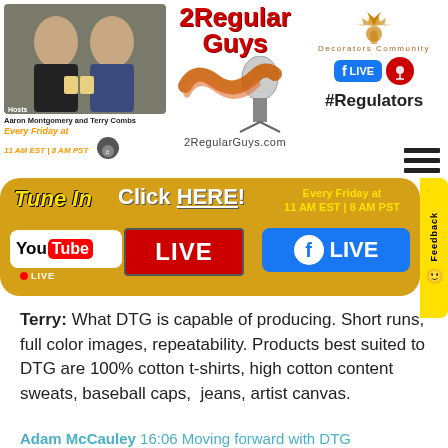[Figure (photo): Two men (Aaron Montgomery and Terry Combs) sitting together, hosts of 2 Regular Guys podcast. With text 'Hosts Aaron Montgomery and Terry Combs Every Friday at 11 AM EST | 8 AM PST' and a headphone badge.]
[Figure (logo): 2 Regular Guys logo with bacon and microphone image, and text '2RegularGuys.com']
[Figure (logo): Decorators Community logo with Facebook LIVE button, podcast icon, and #Regulators hashtag]
[Figure (infographic): Orange/gold banner with Tune In / Click HERE! / Every Friday at 11 AM EST | 8 AM PST, YouTube LIVE, LIVE (red), Facebook LIVE sections, and Feedback tab]
Terry: What DTG is capable of producing. Short runs, full color images, repeatability. Products best suited to DTG are 100% cotton t-shirts, high cotton content sweats, baseball caps,  jeans, artist canvas.
Adam McCauley  16:06 Moving forward with DTG